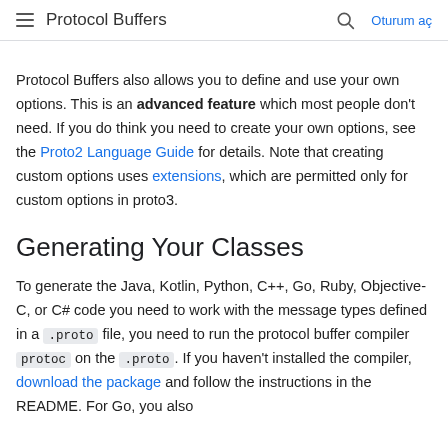Protocol Buffers  Oturum aç
Protocol Buffers also allows you to define and use your own options. This is an advanced feature which most people don't need. If you do think you need to create your own options, see the Proto2 Language Guide for details. Note that creating custom options uses extensions, which are permitted only for custom options in proto3.
Generating Your Classes
To generate the Java, Kotlin, Python, C++, Go, Ruby, Objective-C, or C# code you need to work with the message types defined in a .proto file, you need to run the protocol buffer compiler protoc on the .proto. If you haven't installed the compiler, download the package and follow the instructions in the README. For Go, you also